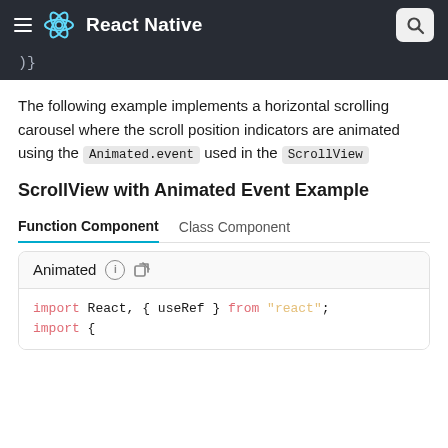React Native
)}
The following example implements a horizontal scrolling carousel where the scroll position indicators are animated using the Animated.event used in the ScrollView
ScrollView with Animated Event Example
Function Component | Class Component
Animated
import React, { useRef } from "react";
import {